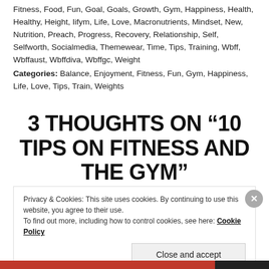Fitness, Food, Fun, Goal, Goals, Growth, Gym, Happiness, Health, Healthy, Height, Iifym, Life, Love, Macronutrients, Mindset, New, Nutrition, Preach, Progress, Recovery, Relationship, Self, Selfworth, Socialmedia, Themewear, Time, Tips, Training, Wbff, Wbffaust, Wbffdiva, Wbffgc, Weight
Categories: Balance, Enjoyment, Fitness, Fun, Gym, Happiness, Life, Love, Tips, Train, Weights
3 THOUGHTS ON “10 TIPS ON FITNESS AND THE GYM”
Privacy & Cookies: This site uses cookies. By continuing to use this website, you agree to their use.
To find out more, including how to control cookies, see here: Cookie Policy
Close and accept